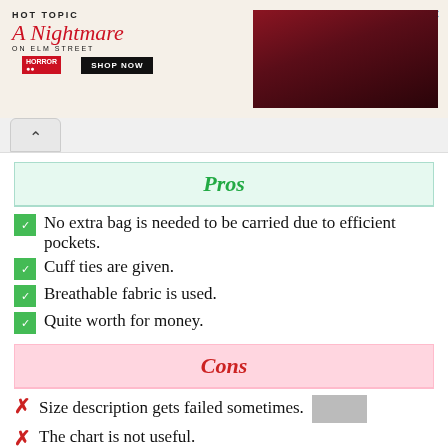[Figure (advertisement): Hot Topic advertisement for 'A Nightmare on Elm Street' merchandise with SHOP NOW button and two people in dark clothing]
Pros
No extra bag is needed to be carried due to efficient pockets.
Cuff ties are given.
Breathable fabric is used.
Quite worth for money.
Cons
Size description gets failed sometimes.
The chart is not useful.